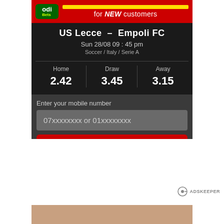[Figure (screenshot): Online sports betting advertisement banner for OdiBets showing a US Lecce vs Empoli FC soccer match with odds, a mobile number input field, and a 'CLAIM FREEBET NOW!' call-to-action button in red with yellow text. Green navigation bar at bottom shows Sports Betting, LIVE In-Play, OdiLeague options.]